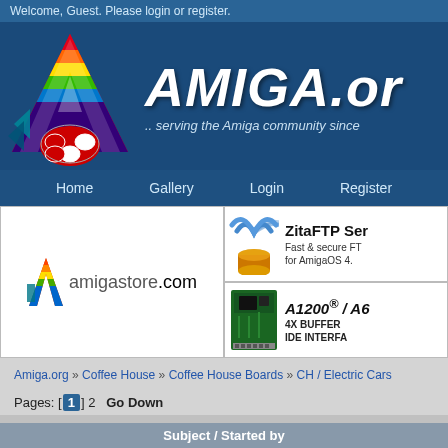Welcome, Guest. Please login or register.
[Figure (logo): AMIGA.org logo banner with rainbow-colored A logo and text 'AMIGA.or' and '.. serving the Amiga community since']
Home   Gallery   Login   Register
[Figure (photo): amigastore.com advertisement banner with rainbow chevron logo]
[Figure (photo): ZitaFTP Server advertisement - Fast & secure FTP for AmigaOS 4.]
[Figure (photo): A1200 / A6 4X BUFFERED IDE INTERFACE advertisement with circuit board image]
Amiga.org » Coffee House » Coffee House Boards » CH / Electric Cars
Pages: [1] 2  Go Down
Subject / Started by
0 Members and 1 Guest are viewing this board.